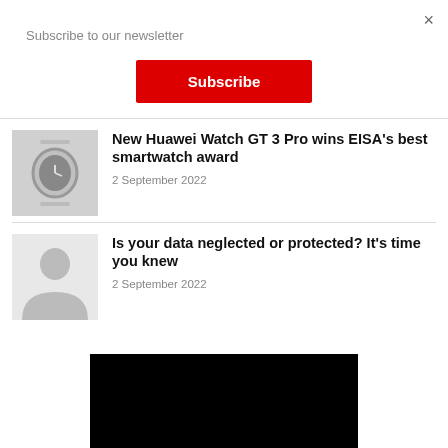Subscribe to our newsletter
Subscribe
New Huawei Watch GT 3 Pro wins EISA’s best smartwatch award
2 September 2022
Is your data neglected or protected? It’s time you knew
2 September 2022
[Figure (photo): Black video/image block at the bottom]
×